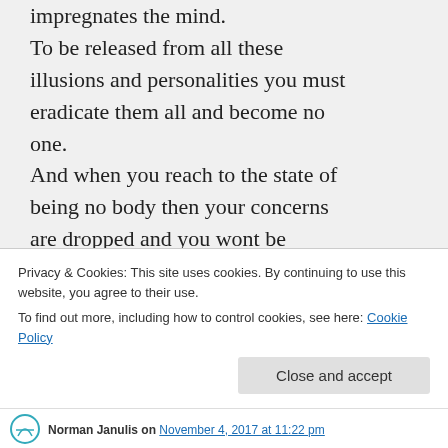impregnates the mind. To be released from all these illusions and personalities you must eradicate them all and become no one. And when you reach to the state of being no body then your concerns are dropped and you wont be neither mind and nor the body but remain as the beyond...you exit the matrix and the game is done
Privacy & Cookies: This site uses cookies. By continuing to use this website, you agree to their use. To find out more, including how to control cookies, see here: Cookie Policy
Close and accept
Norman Janulis on November 4, 2017 at 11:22 pm